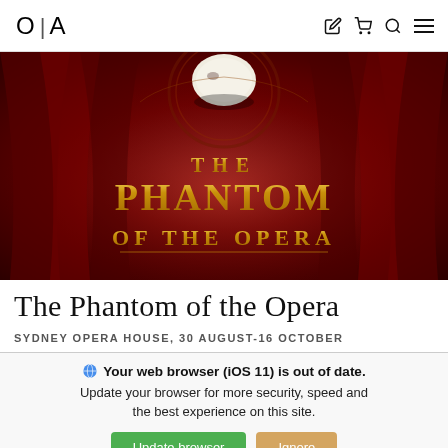O|A (Opera Australia logo) with nav icons: pencil, cart, search, menu
[Figure (illustration): The Phantom of the Opera promotional poster: dark red/crimson draped curtains background with ornate decoration, a white half-mask at top center, and gold decorative text reading 'THE PHANTOM OF THE OPERA']
The Phantom of the Opera
SYDNEY OPERA HOUSE, 30 AUGUST-16 OCTOBER
Your web browser (iOS 11) is out of date. Update your browser for more security, speed and the best experience on this site.
Update browser | Ignore